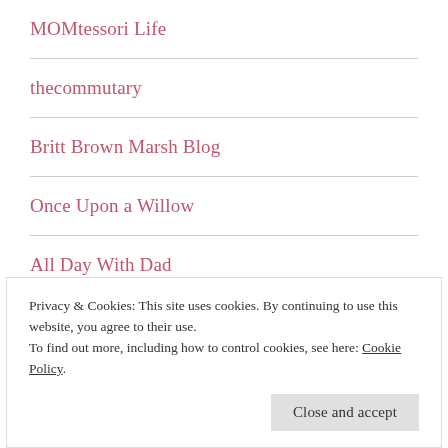MOMtessori Life
thecommutary
Britt Brown Marsh Blog
Once Upon a Willow
All Day With Dad
homegrownlove
Through My Mistakes
Privacy & Cookies: This site uses cookies. By continuing to use this website, you agree to their use.
To find out more, including how to control cookies, see here: Cookie Policy
Close and accept